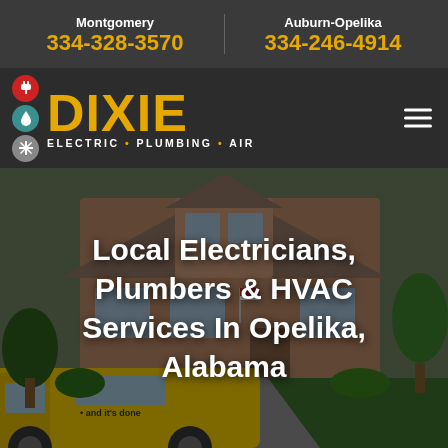Montgomery 334-328-3570 | Auburn-Opelika 334-246-4914
[Figure (logo): Dixie Electric Plumbing Air logo with icon stack (red plug, teal water drop, gray snowflake) and gold DIXIE text]
Local Electricians, Plumbers & HVAC Services In Opelika, Alabama
[Figure (photo): Background photo of a brick house with a yellow Dixie Electric Plumbing Air service van parked in front, with a cartoon mascot on the van]